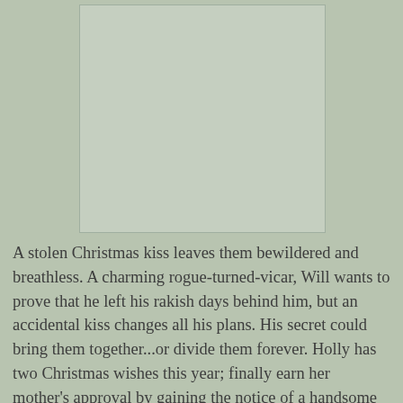[Figure (illustration): Book cover image placeholder — a sage green/muted rectangle representing a book cover against a matching background]
A stolen Christmas kiss leaves them bewildered and breathless. A charming rogue-turned-vicar, Will wants to prove that he left his rakish days behind him, but an accidental kiss changes all his plans. His secret could bring them together...or divide them forever. Holly has two Christmas wishes this year; finally earn her mother's approval by gaining the notice of a handsome earl, and learn the identity of the stranger who gave her a heart-shattering kiss...if that stranger is the same vicar at Christmas, she just